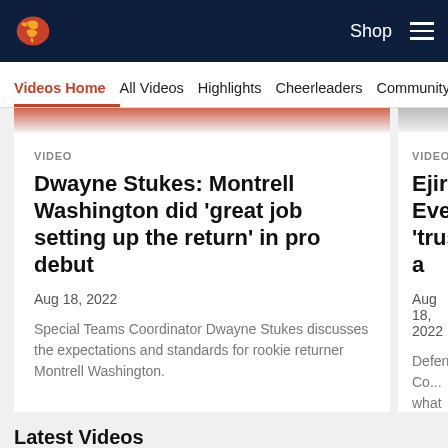Denver Broncos website header with logo, Shop link, and hamburger menu
Videos Home | All Videos | Highlights | Cheerleaders | Community
VIDEO
Dwayne Stukes: Montrell Washington did 'great job setting up the return' in pro debut
Aug 18, 2022
Special Teams Coordinator Dwayne Stukes discusses the expectations and standards for rookie returner Montrell Washington.
VIDEO
Ejiro Eve 'trusted a...
Aug 18, 2022
Defensive Co... what he's see... defensive side... Locke.
Latest Videos